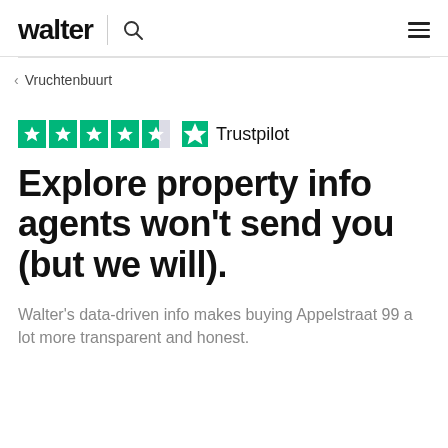walter | search | menu
< Vruchtenbuurt
[Figure (logo): Trustpilot rating with 4.5 green stars and Trustpilot logo text]
Explore property info agents won't send you (but we will).
Walter's data-driven info makes buying Appelstraat 99 a lot more transparent and honest.